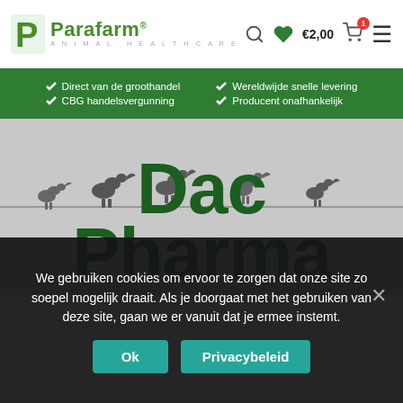[Figure (logo): Parafarm Animal Healthcare logo with green P icon and text]
€2,00  ☰
Direct van de groothandel  CBG handelsvergunning  Wereldwijde snelle levering  Producent onafhankelijk
[Figure (photo): Hero image showing silhouettes of birds perched on a wire against a grey background, with large green text 'Dac Pharma' overlaid]
Dac Pharma
We gebruiken cookies om ervoor te zorgen dat onze site zo soepel mogelijk draait. Als je doorgaat met het gebruiken van deze site, gaan we er vanuit dat je ermee instemt.
Ok  Privacybeleid